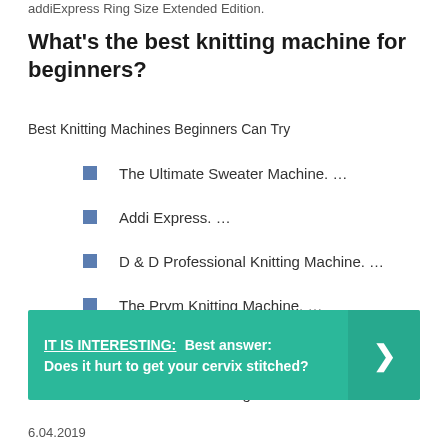addiExpress Ring Size Extended Edition.
What's the best knitting machine for beginners?
Best Knitting Machines Beginners Can Try
The Ultimate Sweater Machine. …
Addi Express. …
D & D Professional Knitting Machine. …
The Prym Knitting Machine. …
The Singer Knitting Machine. …
Silver Reed Knitting Machine.
IT IS INTERESTING: Best answer: Does it hurt to get your cervix stitched?
6.04.2019